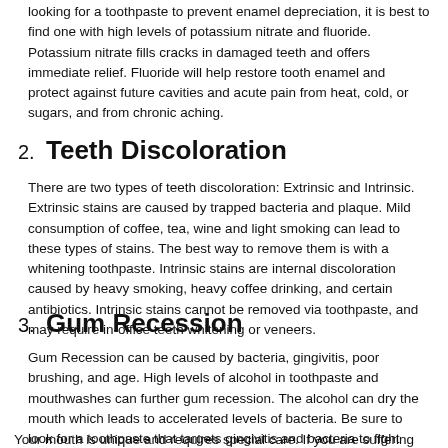looking for a toothpaste to prevent enamel depreciation, it is best to find one with high levels of potassium nitrate and fluoride. Potassium nitrate fills cracks in damaged teeth and offers immediate relief. Fluoride will help restore tooth enamel and protect against future cavities and acute pain from heat, cold, or sugars, and from chronic aching.
2. Teeth Discoloration
There are two types of teeth discoloration: Extrinsic and Intrinsic. Extrinsic stains are caused by trapped bacteria and plaque. Mild consumption of coffee, tea, wine and light smoking can lead to these types of stains. The best way to remove them is with a whitening toothpaste. Intrinsic stains are internal discoloration caused by heavy smoking, heavy coffee drinking, and certain antibiotics. Intrinsic stains cannot be removed via toothpaste, and may require in-office teeth whitening or veneers.
3. Gum Recession
Gum Recession can be caused by bacteria, gingivitis, poor brushing, and age. High levels of alcohol in toothpaste and mouthwashes can further gum recession. The alcohol can dry the mouth which leads to accelerated levels of bacteria. Be sure to look for a toothpaste that targets gingivitis and bacteria to fight against further gum recession.
Your mouth is unique and requires special care. If you are suffering from any of these issues, you may want to consider choosing a toothpaste that will help correct them. It is always best to check with your dentist to learn which toothpaste is best for you. Scheduling an appointment and